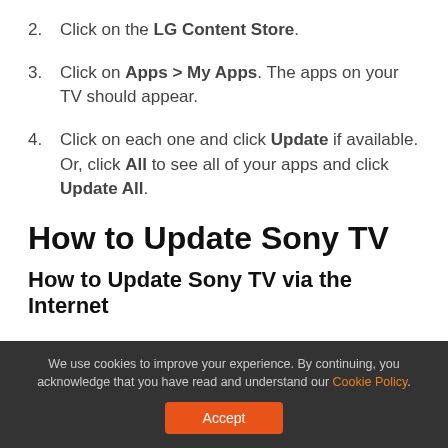2. Click on the LG Content Store.
3. Click on Apps > My Apps. The apps on your TV should appear.
4. Click on each one and click Update if available. Or, click All to see all of your apps and click Update All.
How to Update Sony TV
How to Update Sony TV via the Internet
We use cookies to improve your experience. By continuing, you acknowledge that you have read and understand our Cookie Policy.